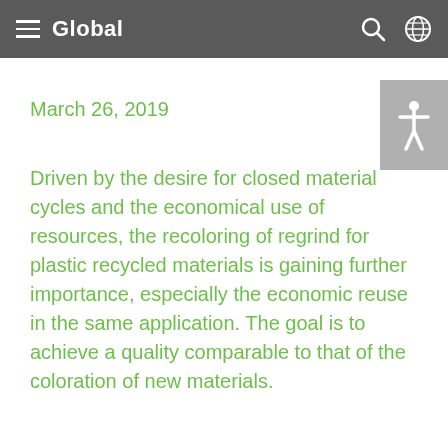Global
March 26, 2019
Driven by the desire for closed material cycles and the economical use of resources, the recoloring of regrind for plastic recycled materials is gaining further importance, especially the economic reuse in the same application. The goal is to achieve a quality comparable to that of the coloration of new materials.